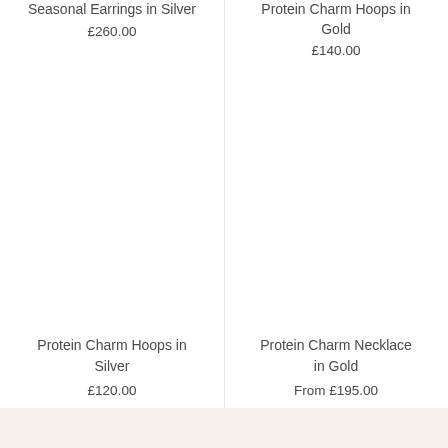Seasonal Earrings in Silver
£260.00
Protein Charm Hoops in Gold
£140.00
Protein Charm Hoops in Silver
£120.00
Protein Charm Necklace in Gold
From £195.00